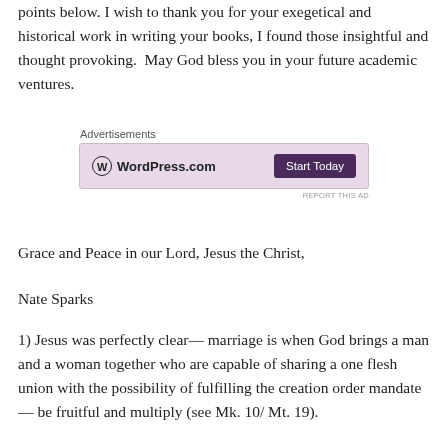points below. I wish to thank you for your exegetical and historical work in writing your books, I found those insightful and thought provoking.  May God bless you in your future academic ventures.
[Figure (screenshot): WordPress.com advertisement banner with pink/lavender background, showing WordPress.com logo on the left and a dark purple 'Start Today' button on the right, labeled 'Advertisements' above and 'REPORT THIS AD' below.]
Grace and Peace in our Lord, Jesus the Christ,
Nate Sparks
1) Jesus was perfectly clear— marriage is when God brings a man and a woman together who are capable of sharing a one flesh union with the possibility of fulfilling the creation order mandate— be fruitful and multiply (see Mk. 10/ Mt. 19).